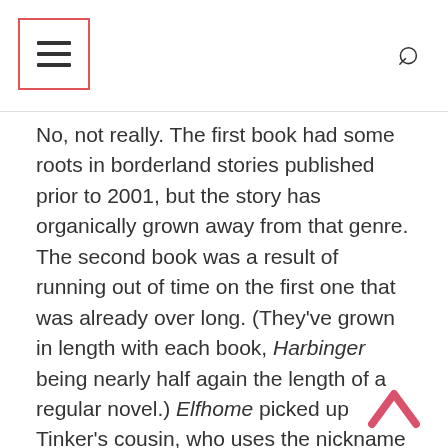Navigation header with hamburger menu and search icon
No, not really. The first book had some roots in borderland stories published prior to 2001, but the story has organically grown away from that genre. The second book was a result of running out of time on the first one that was already over long. (They've grown in length with each book, Harbinger being nearly half again the length of a regular novel.) Elfhome picked up Tinker's cousin, who uses the nickname of Oilcan, as a point of view. I had met with some fans and they wanted to know more about him. I got to thinking about him and the book was the result. Wood Sprites started after I had a vivid dream and woke up realizing that the process that created Tinker probably resulted in other embryos who might have been born after her.